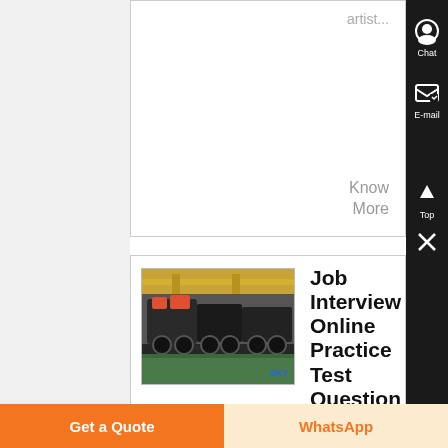artist...
Know More
[Figure (photo): Industrial/mining machinery (crushers/trucks) in a factory hall with yellow crane beams; SKY brand label visible at bottom right]
Job Interview Online Practice Test Question - hr ,
Job Interview Practice Test
Get a Quote
WhatsApp